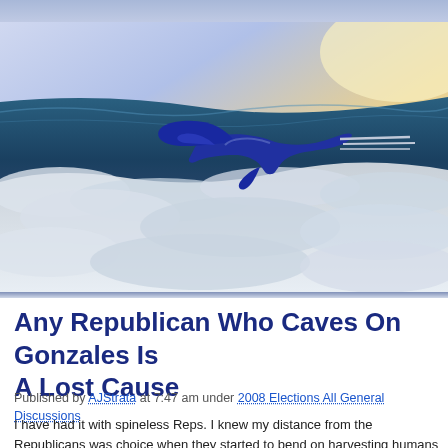[Figure (photo): Website banner image showing an aerial view of Earth's surface with ocean and clouds below, and a stylized blue bird/aircraft logo flying in the upper portion against a bright sky.]
Any Republican Who Caves On Gonzales Is A Lost Cause
Published by AJStrata at 7:47 am under 2008 Elections All General Discussions
I have had it with spineless Reps. I knew my distance from the Republicans was choice when they started to bend on harvesting humans for overblown and unpr medical promises. But now they have gone from eating their young to eating tho make them look sort of bad in the media. Which means the Reps no longer act a